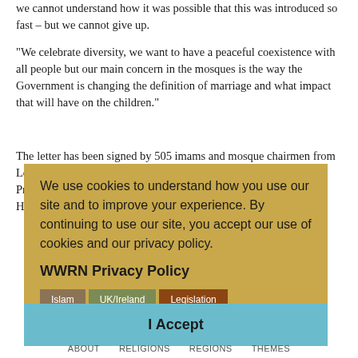we cannot understand how it was possible that this was introduced so fast – but we cannot give up.
“We celebrate diversity, we want to have a peaceful coexistence with all people but our main concern in the mosques is the way the Government is changing the definition of marriage and what impact that will have on the children.”
The letter has been signed by 505 imams and mosque chairmen from London, Birmingham, Manchester, Liverpool, Leicester, Luton, Preston, Blackburn, Burnley, Dewsbury, Newcastle, Bradford, Huddersfield and Nottingham among other cities.
Filed under
Islam  UK/Ireland  Legislation
We use cookies to understand how you use our site and to improve your experience. By continuing to use our site, you accept our use of cookies and our privacy policy.
WWRN Privacy Policy
I Accept
ABOUT   RELIGIONS   REGIONS   THEMES